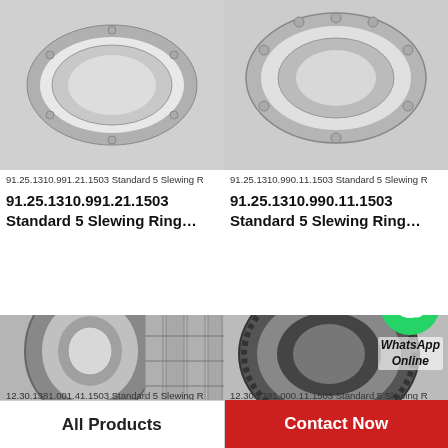[Figure (photo): Slewing ring bearing product photo top left - 91.25.1310.991.21.1503]
91.25.1310.991.21.1503 Standard 5 Slewing R
91.25.1310.991.21.1503
Standard 5 Slewing Ring...
[Figure (photo): Slewing ring bearing product photo top right - 91.25.1310.990.11.1503]
91.25.1310.990.11.1503 Standard 5 Slewing R
91.25.1310.990.11.1503
Standard 5 Slewing Ring...
[Figure (photo): Roller bearing product photo bottom left - 12.30.1381.001.41.1503]
12.30.1381.001.41.1503 Standard 5 Slewing R
12.30.1381.001.41.1503
[Figure (photo): Slewing ring product photo bottom right with WhatsApp Online badge - 12.30.1381.000.11.1503]
12.30.1381.000.11.1503 Standard 5 Slewing R
12.30.1381.000.11.1503
All Products
Contact Now